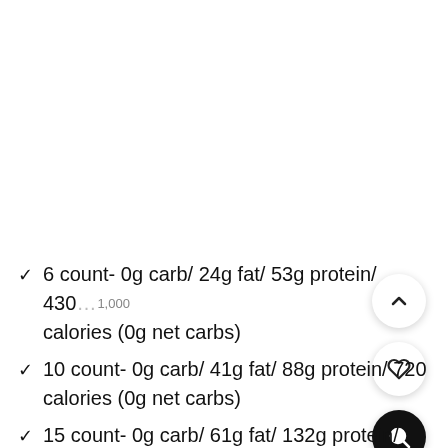6 count- 0g carb/ 24g fat/ 53g protein/ 430 calories (0g net carbs)
10 count- 0g carb/ 41g fat/ 88g protein/ 720 calories (0g net carbs)
15 count- 0g carb/ 61g fat/ 132g protein/ 1,080 calories (0g net carbs)
20 count- 0g carb/ 82g fat/ 177g protein/ 1,44...